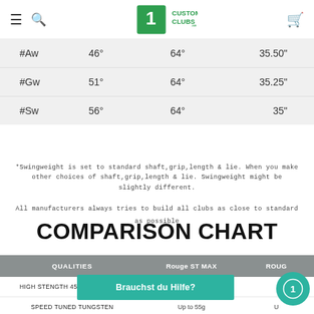Custom Clubs SE — navigation header
|  | Loft | Lie | Length |
| --- | --- | --- | --- |
| #Aw | 46° | 64° | 35.50" |
| #Gw | 51° | 64° | 35.25" |
| #Sw | 56° | 64° | 35" |
*Swingweight is set to standard shaft,grip,length & lie. When you make other choices of shaft,grip,length & lie. Swingweight might be slightly different.
All manufacturers always tries to build all clubs as close to standard as possible
COMPARISON CHART
| QUALITIES | Rouge ST MAX | ROUGE |
| --- | --- | --- |
| HIGH STENGTH 450 A.I FACE CUP | Yes |  |
| SPEED TUNED TUNGSTEN | Up to 55g | U |
| URETHANE MICROSPHERES | Yes |  |